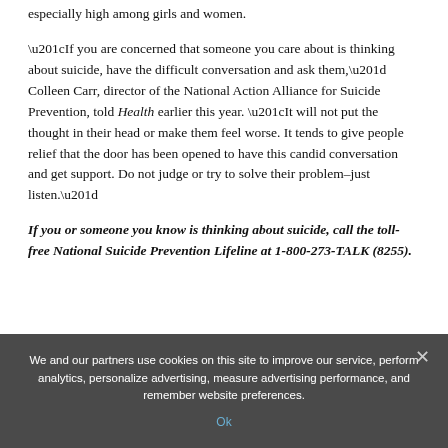especially high among girls and women.
“If you are concerned that someone you care about is thinking about suicide, have the difficult conversation and ask them,” Colleen Carr, director of the National Action Alliance for Suicide Prevention, told Health earlier this year. “It will not put the thought in their head or make them feel worse. It tends to give people relief that the door has been opened to have this candid conversation and get support. Do not judge or try to solve their problem–just listen.”
If you or someone you know is thinking about suicide, call the toll-free National Suicide Prevention Lifeline at 1-800-273-TALK (8255).
We and our partners use cookies on this site to improve our service, perform analytics, personalize advertising, measure advertising performance, and remember website preferences.